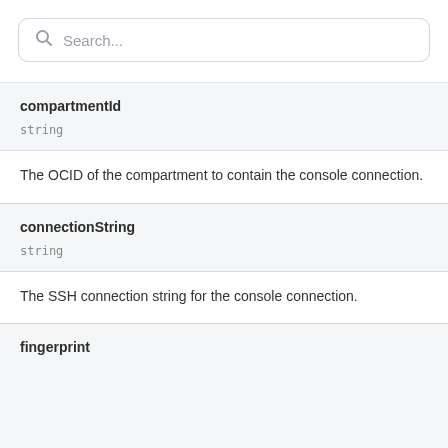Search...
compartmentId
string
The OCID of the compartment to contain the console connection.
connectionString
string
The SSH connection string for the console connection.
fingerprint